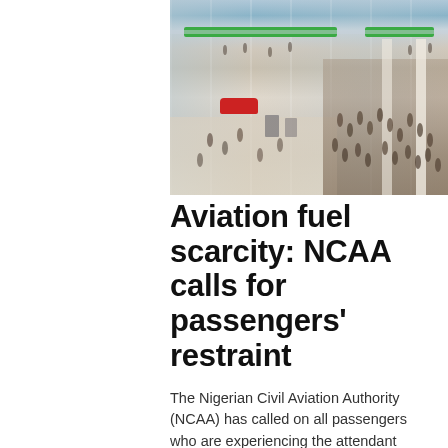[Figure (photo): Aerial/elevated view of a busy airport terminal interior showing passengers, a red car, green signage banners, large open floor space, and crowds near check-in or waiting areas with white columns]
Aviation fuel scarcity: NCAA calls for passengers' restraint
The Nigerian Civil Aviation Authority (NCAA) has called on all passengers who are experiencing the attendant flight delays and